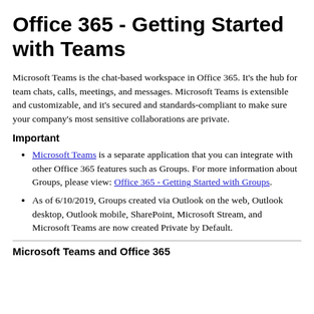Office 365 - Getting Started with Teams
Microsoft Teams is the chat-based workspace in Office 365. It's the hub for team chats, calls, meetings, and messages. Microsoft Teams is extensible and customizable, and it's secured and standards-compliant to make sure your company's most sensitive collaborations are private.
Important
Microsoft Teams is a separate application that you can integrate with other Office 365 features such as Groups. For more information about Groups, please view: Office 365 - Getting Started with Groups.
As of 6/10/2019, Groups created via Outlook on the web, Outlook desktop, Outlook mobile, SharePoint, Microsoft Stream, and Microsoft Teams are now created Private by Default.
Microsoft Teams and Office 365